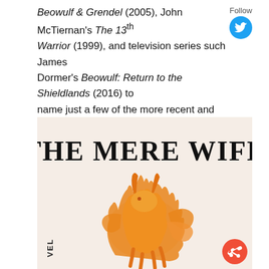Beowulf & Grendel (2005), John McTiernan's The 13th Warrior (1999), and television series such James Dormer's Beowulf: Return to the Shieldlands (2016) to name just a few of the more recent and successful adaptations of this famous medieval poem.
[Figure (illustration): Book cover of 'The Mere Wife' — a novel featuring a fiery orange goat-like creature with flowing mane on a pale pinkish background, with bold gothic title text 'THE MERE WIFE' at the top, and the word 'VEL' visible at bottom left (partial word 'NOVEL').]